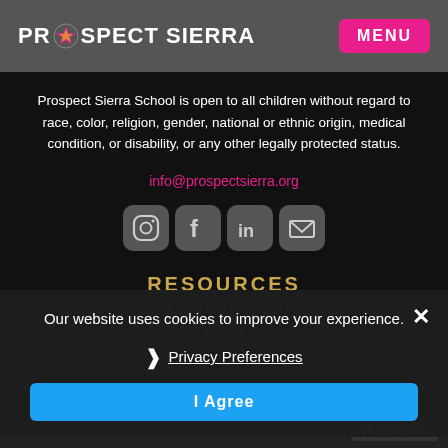PROSPECT SIERRA | MENU
Prospect Sierra School is open to all children without regard to race, color, religion, gender, national or ethnic origin, medical condition, or disability, or any other legally protected status.
info@prospectsierra.org
[Figure (infographic): Social media icons: Instagram, Facebook, LinkedIn, Email]
RESOURCES
Extended Program
Our website uses cookies to improve your experience.
❯ Privacy Preferences
I Agree
VISIT H... | English